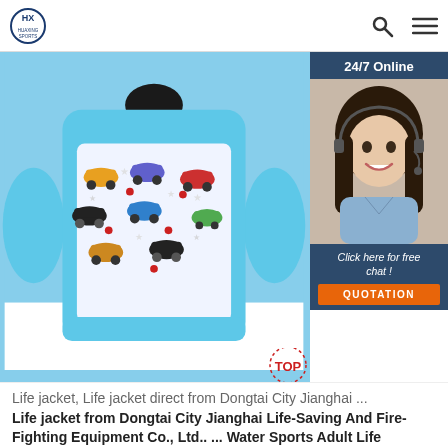HUAXING SPORTS
[Figure (photo): Children's swimming floatsuit/life jacket in light blue with colorful cars pattern on white fabric chest panel]
[Figure (photo): 24/7 Online customer service agent — woman with headset smiling, with 'Click here for free chat!' text and orange QUOTATION button]
Life jacket, Life jacket direct from Dongtai City Jianghai ...
Life jacket from Dongtai City Jianghai Life-Saving And Fire-Fighting Equipment Co., Ltd.. ... Water Sports Adult Life Jackets Neoprene Fishing Life Jacket Watersports Kayaking Boating Drifting Safe...